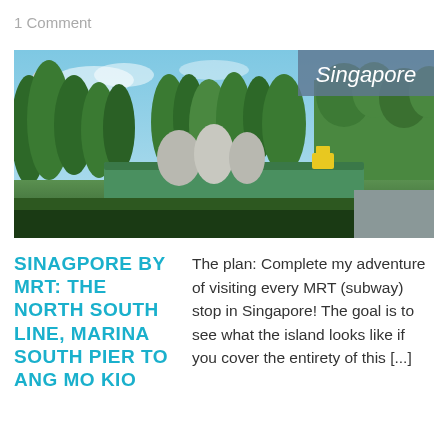1 Comment
[Figure (photo): Outdoor photograph of a park or public space in Singapore with green trees, a blue sky, and a low green metal-clad structure or building in the foreground. A 'Singapore' label badge appears in the top-right corner of the image.]
SINAGPORE BY MRT: THE NORTH SOUTH LINE, MARINA SOUTH PIER TO ANG MO KIO
The plan: Complete my adventure of visiting every MRT (subway) stop in Singapore! The goal is to see what the island looks like if you cover the entirety of this [...]